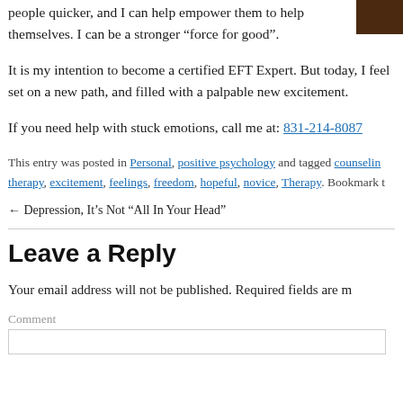people quicker, and I can help empower them to help themselves. I can be a stronger “force for good”.
It is my intention to become a certified EFT Expert. But today, I feel set on a new path, and filled with a palpable new excitement.
If you need help with stuck emotions, call me at: 831-214-8087
This entry was posted in Personal, positive psychology and tagged counseling therapy, excitement, feelings, freedom, hopeful, novice, Therapy. Bookmark t
← Depression, It’s Not “All In Your Head”
Leave a Reply
Your email address will not be published. Required fields are m
Comment